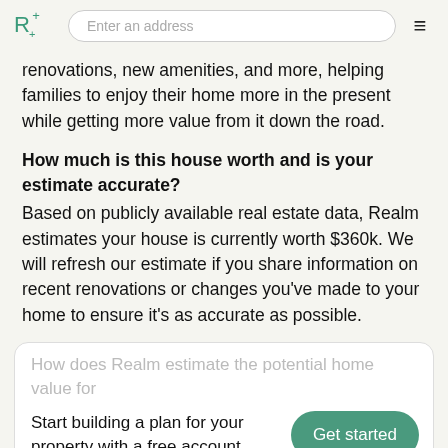Realm logo | Enter an address | menu
renovations, new amenities, and more, helping families to enjoy their home more in the present while getting more value from it down the road.
How much is this house worth and is your estimate accurate?
Based on publicly available real estate data, Realm estimates your house is currently worth $360k. We will refresh our estimate if you share information on recent renovations or changes you've made to your home to ensure it's as accurate as possible.
Start building a plan for your property with a free account
Get started
First, we review hundreds of attributes about your